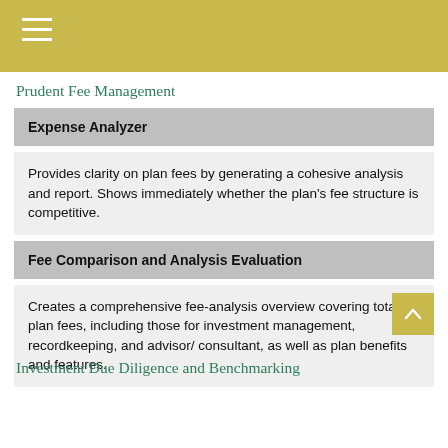Prudent Fee Management
Expense Analyzer
Provides clarity on plan fees by generating a cohesive analysis and report. Shows immediately whether the plan's fee structure is competitive.
Fee Comparison and Analysis Evaluation
Creates a comprehensive fee-analysis overview covering total plan fees, including those for investment management, recordkeeping, and advisor/ consultant, as well as plan benefits and features.
Investment Due Diligence and Benchmarking